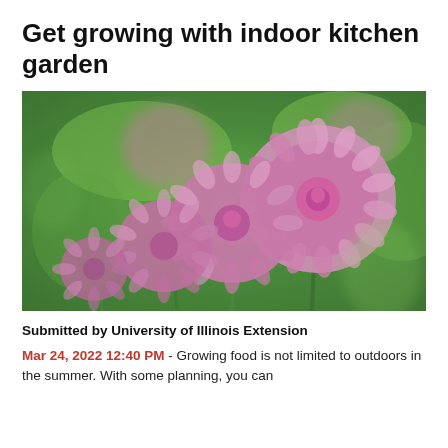Get growing with indoor kitchen garden
[Figure (photo): Close-up photograph of pink/purple chive flowers (Allium schoenoprasum) in bloom against a blurred green background, showing multiple fluffy round flower heads on long green stems.]
Submitted by University of Illinois Extension
Mar 24, 2022 12:40 PM - Growing food is not limited to outdoors in the summer. With some planning, you can